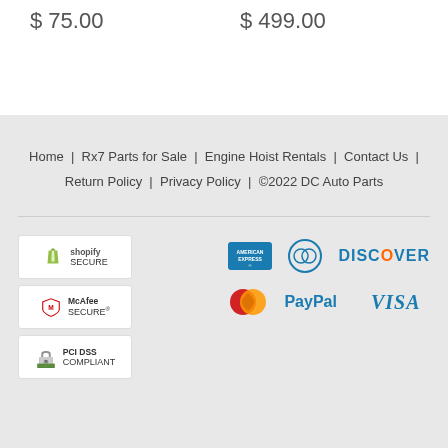$ 75.00
$ 499.00
Home | Rx7 Parts for Sale | Engine Hoist Rentals | Contact Us | Return Policy | Privacy Policy | ©2022 DC Auto Parts
[Figure (logo): Shopify Secure badge, McAfee SECURE badge, PCI DSS Compliant badge, American Express, Diners Club, Discover, MasterCard, PayPal, and VISA payment icons]